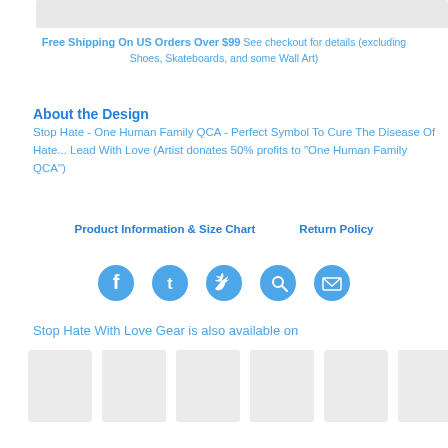[Figure (other): Partial product image strip at top]
Free Shipping On US Orders Over $99 See checkout for details (excluding Shoes, Skateboards, and some Wall Art)
About the Design
Stop Hate - One Human Family QCA - Perfect Symbol To Cure The Disease Of Hate... Lead With Love (Artist donates 50% profits to "One Human Family QCA")
Product Information & Size Chart    Return Policy
[Figure (infographic): Social media share icons: Facebook, Tumblr, Twitter, Pinterest, Email]
Stop Hate With Love Gear is also available on
[Figure (other): Row of product thumbnail placeholder images]